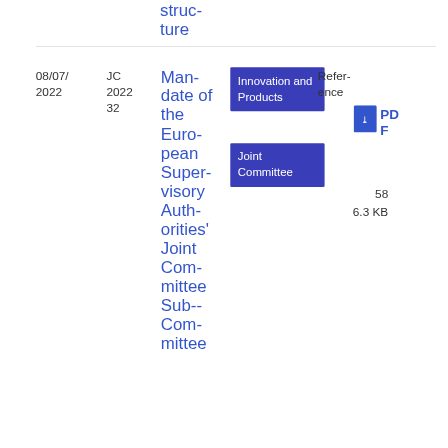structure
| Date | Reference | Title | Topics | Reference | PDF | Size |
| --- | --- | --- | --- | --- | --- | --- |
| 08/07/2022 | JC 2022 32 | Mandate of the European Supervisory Authorities' Joint Committee Sub-Committee... | Innovation and Products / Joint Committee | Reference | PDF | 58
6.3 KB |